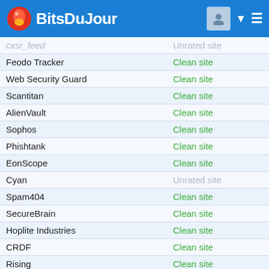Bits Du Jour
| Name | Status |
| --- | --- |
| cxsr_feed | Unrated site |
| Feodo Tracker | Clean site |
| Web Security Guard | Clean site |
| Scantitan | Clean site |
| AlienVault | Clean site |
| Sophos | Clean site |
| Phishtank | Clean site |
| EonScope | Clean site |
| Cyan | Unrated site |
| Spam404 | Clean site |
| SecureBrain | Clean site |
| Hoplite Industries | Clean site |
| CRDF | Clean site |
| Rising | Clean site |
| Fortinet | Clean site |
| alphaMountain.ai | Clean site |
| Lionic | Clean site |
| Virusdie External Site Scan | Clean site |
| Artists Against 419 | Clean site |
| Google Safebrowsing | Clean site |
| SafeToOpen | Unrated site |
| ADMINUSLabs | Clean site |